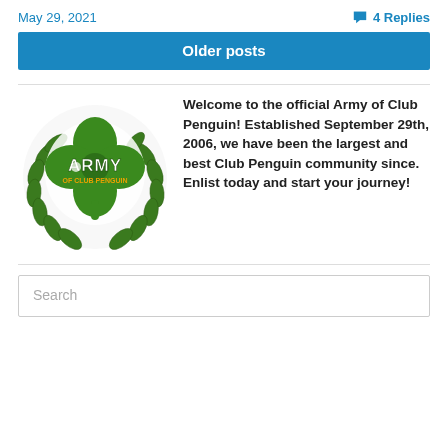May 29, 2021
4 Replies
Older posts
[Figure (logo): Army of Club Penguin logo: a green four-leaf clover with laurel wreath and text 'ARMY OF CLUB PENGUIN']
Welcome to the official Army of Club Penguin! Established September 29th, 2006, we have been the largest and best Club Penguin community since. Enlist today and start your journey!
Search